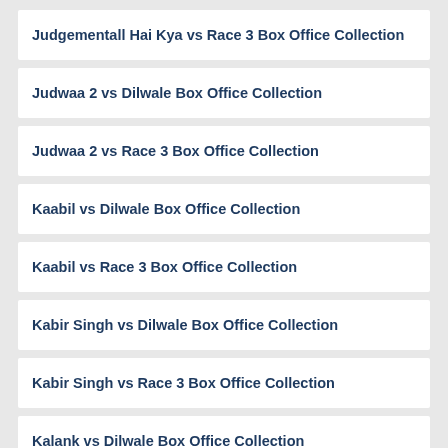Judgementall Hai Kya vs Race 3 Box Office Collection
Judwaa 2 vs Dilwale Box Office Collection
Judwaa 2 vs Race 3 Box Office Collection
Kaabil vs Dilwale Box Office Collection
Kaabil vs Race 3 Box Office Collection
Kabir Singh vs Dilwale Box Office Collection
Kabir Singh vs Race 3 Box Office Collection
Kalank vs Dilwale Box Office Collection
Kalank vs Race 3 Box Office Collection
Kesari vs Dilwale Box Office Collection